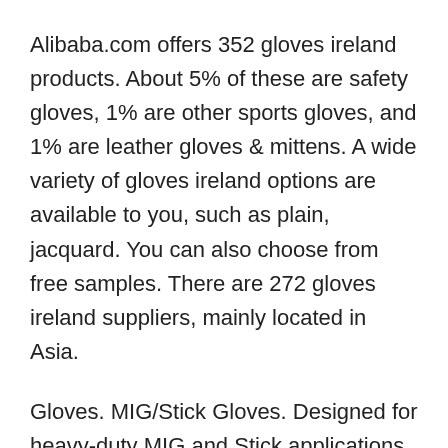Alibaba.com offers 352 gloves ireland products. About 5% of these are safety gloves, 1% are other sports gloves, and 1% are leather gloves & mittens. A wide variety of gloves ireland options are available to you, such as plain, jacquard. You can also choose from free samples. There are 272 gloves ireland suppliers, mainly located in Asia.
Gloves. MIG/Stick Gloves. Designed for heavy-duty MIG and Stick applications MIG Gloves. Designed for mig applications tig Gloves. Designed for TIG applications ... welding safety promotional EMAILS * First Name * Last Name * Email Address ...
He signed for more than 30 minutes, all while wearing a black firesuit, driving shoes, gloves, and a helmet with a tinted visor ... "We are setting up in Ireland, Scotland,